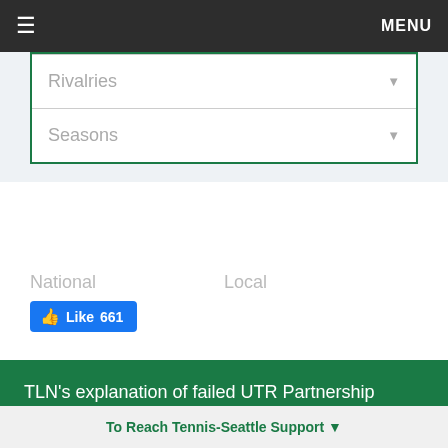≡  MENU
Rivalries ▼
Seasons ▼
National
Local
[Figure (other): Facebook Like button showing 661 likes]
TLN's explanation of failed UTR Partnership
To Reach Tennis-Seattle Support ▼